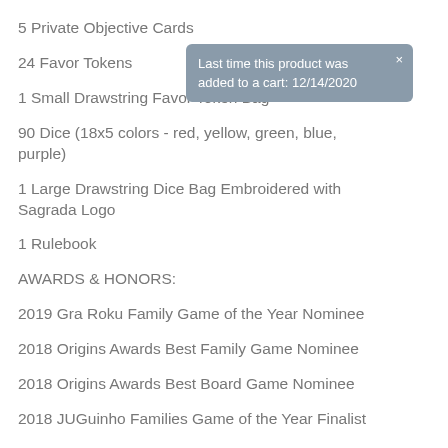5 Private Objective Cards
24 Favor Tokens
1 Small Drawstring Favor Token Bag
90 Dice (18x5 colors - red, yellow, green, blue, purple)
1 Large Drawstring Dice Bag Embroidered with Sagrada Logo
1 Rulebook
AWARDS & HONORS:
2019 Gra Roku Family Game of the Year Nominee
2018 Origins Awards Best Family Game Nominee
2018 Origins Awards Best Board Game Nominee
2018 JUGuinho Families Game of the Year Finalist
2018 Juego del Año Finalist
Last time this product was added to a cart: 12/14/2020